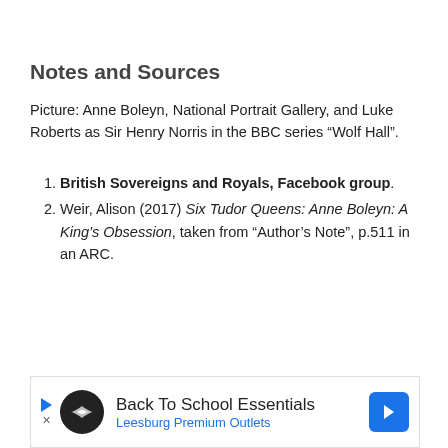Notes and Sources
Picture: Anne Boleyn, National Portrait Gallery, and Luke Roberts as Sir Henry Norris in the BBC series “Wolf Hall”.
British Sovereigns and Royals, Facebook group.
Weir, Alison (2017) Six Tudor Queens: Anne Boleyn: A King’s Obsession, taken from “Author’s Note”, p.511 in an ARC.
[Figure (infographic): Advertisement banner: Back To School Essentials, Leesburg Premium Outlets, with a circular logo and blue arrow icon.]